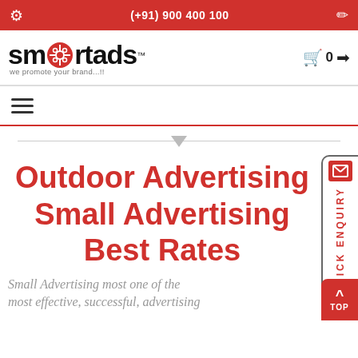(+91) 900 400 100
[Figure (logo): SmartAds logo with tagline 'we promote your brand...!!']
Outdoor Advertising
Small Advertising
Best Rates
Small Advertising most one of the most effective, successful, advertising